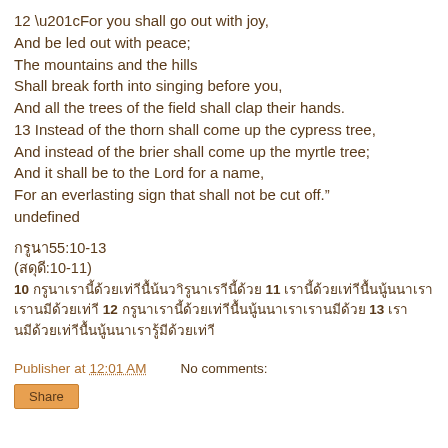12 “For you shall go out with joy,
And be led out with peace;
The mountains and the hills
Shall break forth into singing before you,
And all the trees of the field shall clap their hands.
13 Instead of the thorn shall come up the cypress tree,
And instead of the brier shall come up the myrtle tree;
And it shall be to the Lord for a name,
For an everlasting sign that shall not be cut off.”
undefined
อิสก55:10-13
(สดุดี:10-11)
10 [Thai text] 11 [Thai text] 12 [Thai text] 13 [Thai text]
Publisher at 12:01 AM    No comments:
Share